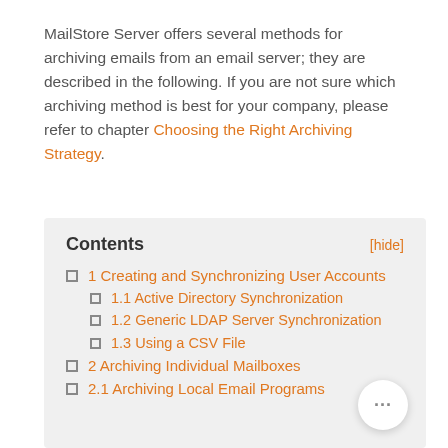MailStore Server offers several methods for archiving emails from an email server; they are described in the following. If you are not sure which archiving method is best for your company, please refer to chapter Choosing the Right Archiving Strategy.
Contents
1 Creating and Synchronizing User Accounts
1.1 Active Directory Synchronization
1.2 Generic LDAP Server Synchronization
1.3 Using a CSV File
2 Archiving Individual Mailboxes
2.1 Archiving Local Email Programs